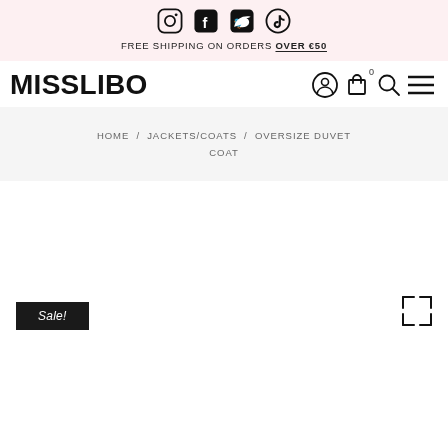FREE SHIPPING ON ORDERS OVER €50
[Figure (logo): MISSLIBO brand logo in bold black text]
HOME / JACKETS/COATS / OVERSIZE DUVET COAT
[Figure (photo): Product image area for Oversize Duvet Coat with Sale badge and expand icon]